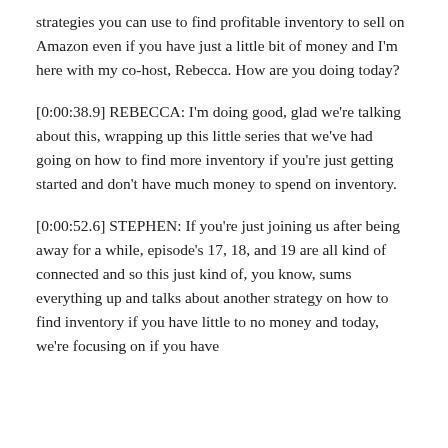strategies you can use to find profitable inventory to sell on Amazon even if you have just a little bit of money and I'm here with my co-host, Rebecca. How are you doing today?
[0:00:38.9] REBECCA: I'm doing good, glad we're talking about this, wrapping up this little series that we've had going on how to find more inventory if you're just getting started and don't have much money to spend on inventory.
[0:00:52.6] STEPHEN: If you're just joining us after being away for a while, episode's 17, 18, and 19 are all kind of connected and so this just kind of, you know, sums everything up and talks about another strategy on how to find inventory if you have little to no money and today, we're focusing on if you have